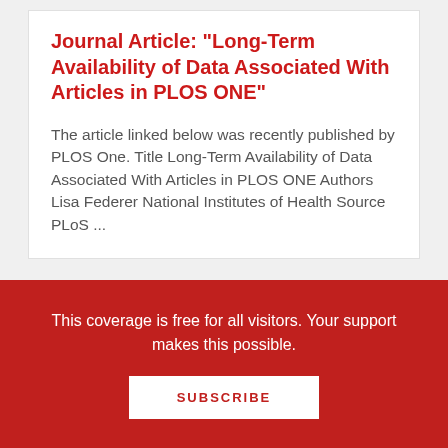Journal Article: "Long-Term Availability of Data Associated With Articles in PLOS ONE"
The article linked below was recently published by PLOS One. Title Long-Term Availability of Data Associated With Articles in PLOS ONE Authors Lisa Federer National Institutes of Health Source PLoS ...
McGill University Library Map Collection (About 22,000 Digitized Maps)
This coverage is free for all visitors. Your support makes this possible.